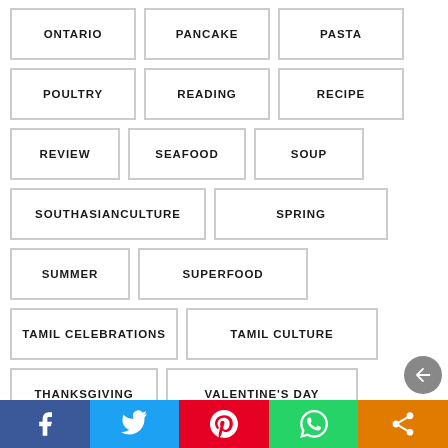ONTARIO
PANCAKE
PASTA
POULTRY
READING
RECIPE
REVIEW
SEAFOOD
SOUP
SOUTHASIANCULTURE
SPRING
SUMMER
SUPERFOOD
TAMIL CELEBRATIONS
TAMIL CULTURE
THANKSGIVING
VALENTINE'S DAY
VEGETARIAN
WINTER